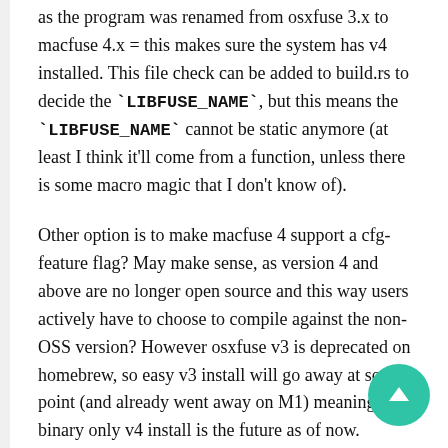as the program was renamed from osxfuse 3.x to macfuse 4.x = this makes sure the system has v4 installed. This file check can be added to build.rs to decide the `LIBFUSE_NAME`, but this means the `LIBFUSE_NAME` cannot be static anymore (at least I think it'll come from a function, unless there is some macro magic that I don't know of).
Other option is to make macfuse 4 support a cfg-feature flag? May make sense, as version 4 and above are no longer open source and this way users actively have to choose to compile against the non-OSS version? However osxfuse v3 is deprecated on homebrew, so easy v3 install will go away at some point (and already went away on M1) meaning the binary only v4 install is the future as of now.